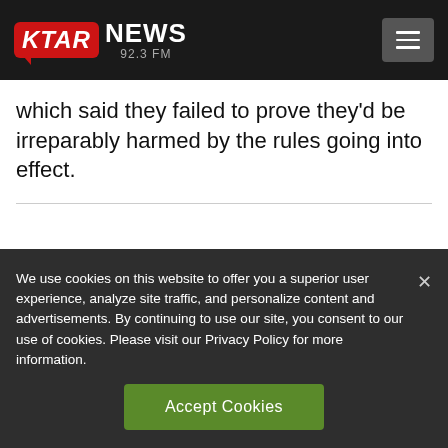KTAR NEWS 92.3 FM
which said they failed to prove they'd be irreparably harmed by the rules going into effect.
We use cookies on this website to offer you a superior user experience, analyze site traffic, and personalize content and advertisements. By continuing to use our site, you consent to our use of cookies. Please visit our Privacy Policy for more information.
Accept Cookies